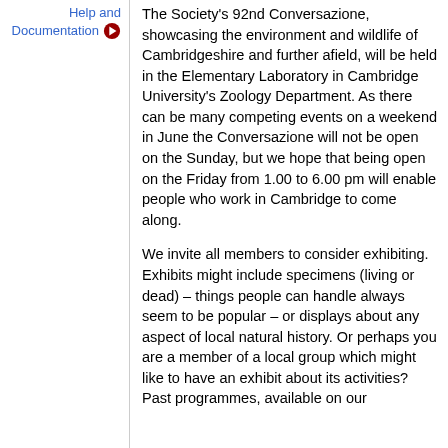Help and Documentation
The Society's 92nd Conversazione, showcasing the environment and wildlife of Cambridgeshire and further afield, will be held in the Elementary Laboratory in Cambridge University's Zoology Department. As there can be many competing events on a weekend in June the Conversazione will not be open on the Sunday, but we hope that being open on the Friday from 1.00 to 6.00 pm will enable people who work in Cambridge to come along.
We invite all members to consider exhibiting. Exhibits might include specimens (living or dead) – things people can handle always seem to be popular – or displays about any aspect of local natural history. Or perhaps you are a member of a local group which might like to have an exhibit about its activities? Past programmes, available on our